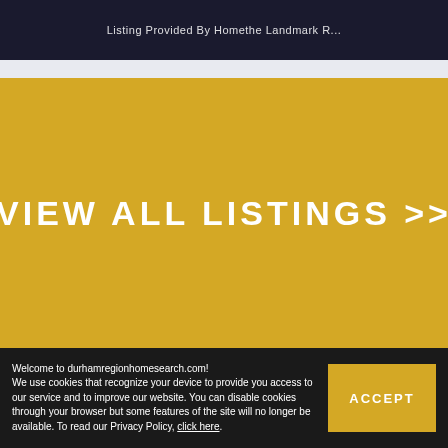Listing Provided By Homethe Landmark R...
VIEW ALL LISTINGS >>
Welcome to durhamregionhomesearch.com! We use cookies that recognize your device to provide you access to our service and to improve our website. You can disable cookies through your browser but some features of the site will no longer be available. To read our Privacy Policy, click here.
ACCEPT